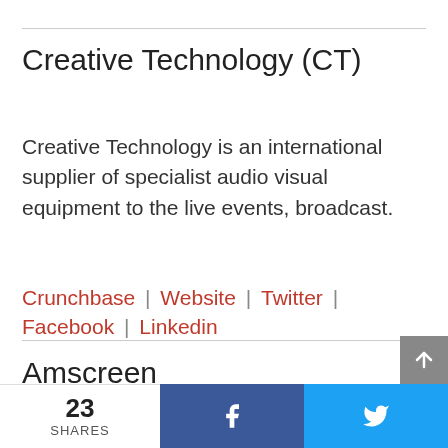Creative Technology (CT)
Creative Technology is an international supplier of specialist audio visual equipment to the live events, broadcast.
Crunchbase | Website | Twitter | Facebook | Linkedin
Amscreen
Amscreen is a digital outdoor signage manufacturer company in the Europe.
Crunchbase | Website | Twitter | Facebook | Linkedin
23 SHARES